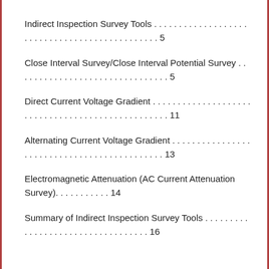Indirect Inspection Survey Tools . . . . . . . . . . . . . . . . . . . . . . . . . . . . . . . . . . . . . . . . . 5
Close Interval Survey/Close Interval Potential Survey . . . . . . . . . . . . . . . . 5
Direct Current Voltage Gradient . . . . . . . . . . . . . . . . . . . . . . . . . . . . . . . . . . . 11
Alternating Current Voltage Gradient . . . . . . . . . . . . . . . . . . . . . . . . . . . . . 13
Electromagnetic Attenuation (AC Current Attenuation Survey). . . . . . . . . . . 14
Summary of Indirect Inspection Survey Tools . . . . . . . . . . . . . . . . . . . . . 16